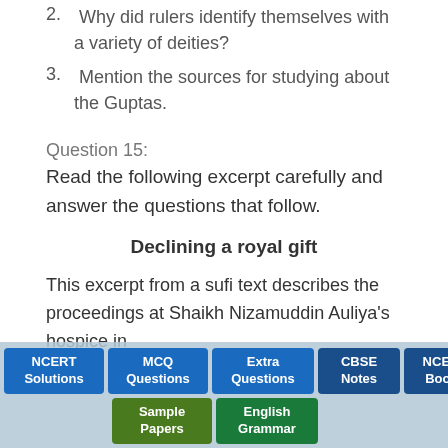2. Why did rulers identify themselves with a variety of deities?
3. Mention the sources for studying about the Guptas.
Question 15:
Read the following excerpt carefully and answer the questions that follow.
Declining a royal gift
This excerpt from a sufi text describes the proceedings at Shaikh Nizamuddin Auliya's hospice in
[Figure (infographic): Bottom navigation toolbar with buttons: NCERT Solutions, MCQ Questions, Extra Questions, CBSE Notes, NCERT Books, Sample Papers, English Grammar]